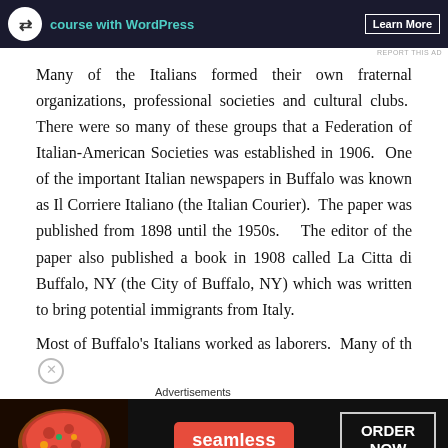[Figure (screenshot): Top advertisement banner with dark background, teal text reading 'course with WordPress', and a 'Learn More' button]
Many of the Italians formed their own fraternal organizations, professional societies and cultural clubs.  There were so many of these groups that a Federation of Italian-American Societies was established in 1906.  One of the important Italian newspapers in Buffalo was known as Il Corriere Italiano (the Italian Courier).  The paper was published from 1898 until the 1950s.   The editor of the paper also published a book in 1908 called La Citta di Buffalo, NY (the City of Buffalo, NY) which was written to bring potential immigrants from Italy.
Most of Buffalo's Italians worked as laborers.  Many of th
[Figure (screenshot): Bottom advertisement banner for Seamless food delivery with pizza image, red Seamless logo pill, and ORDER NOW button in white border box]